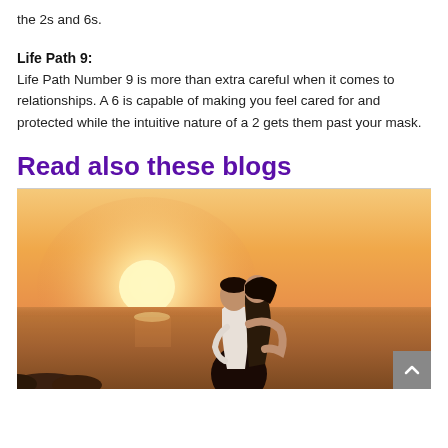the 2s and 6s.
Life Path 9:
Life Path Number 9 is more than extra careful when it comes to relationships. A 6 is capable of making you feel cared for and protected while the intuitive nature of a 2 gets them past your mask.
Read also these blogs
[Figure (photo): A couple embracing while watching a sunset over the ocean, silhouetted against a warm orange and golden sky.]